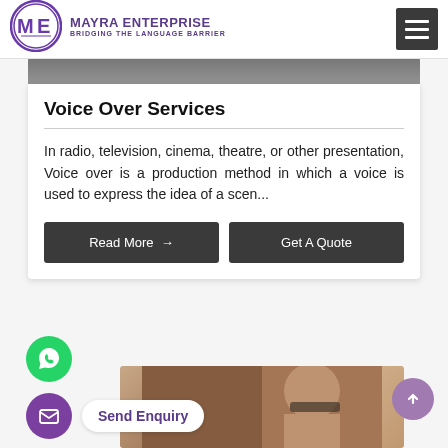MAYRA ENTERPRISE — BRIDGING THE LANGUAGE BARRIER
Voice Over Services
In radio, television, cinema, theatre, or other presentation, Voice over is a production method in which a voice is used to express the idea of a scen...
Read More →
Get A Quote
Send Enquiry